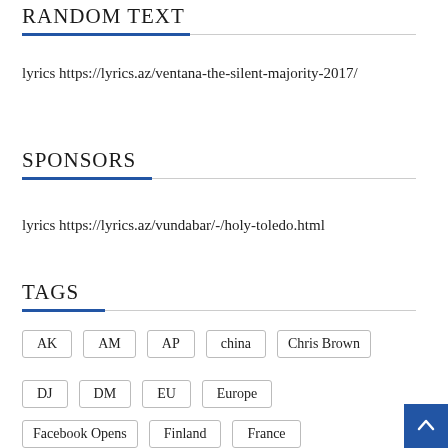RANDOM TEXT
lyrics https://lyrics.az/ventana-the-silent-majority-2017/
SPONSORS
lyrics https://lyrics.az/vundabar/-/holy-toledo.html
TAGS
AK
AM
AP
china
Chris Brown
DJ
DM
EU
Europe
Facebook Opens
Finland
France